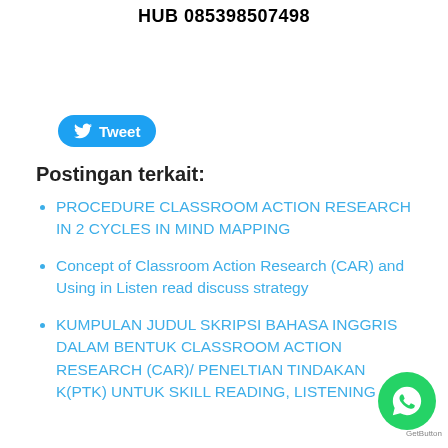HUB 085398507498
[Figure (other): Twitter Tweet button with bird icon, blue rounded pill shape, labeled 'Tweet']
Postingan terkait:
PROCEDURE CLASSROOM ACTION RESEARCH IN 2 CYCLES IN MIND MAPPING
Concept of Classroom Action Research (CAR) and Using in Listen read discuss strategy
KUMPULAN JUDUL SKRIPSI BAHASA INGGRIS DALAM BENTUK CLASSROOM ACTION RESEARCH (CAR)/ PENELTIAN TINDAKAN KELAS (PTK) UNTUK SKILL READING, LISTENING
[Figure (other): WhatsApp floating contact button, green circle with phone/chat icon, with GetButton label]